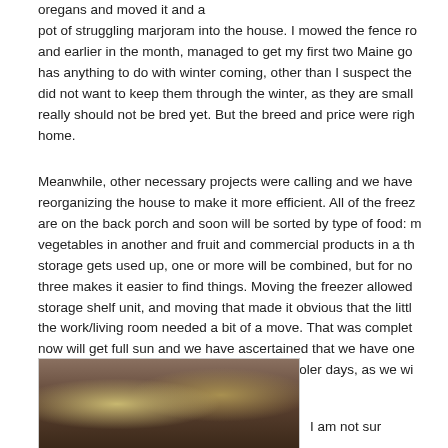oregans and moved it and a pot of struggling marjoram into the house. I mowed the fence row and earlier in the month, managed to get my first two Maine goats. has anything to do with winter coming, other than I suspect the did not want to keep them through the winter, as they are small, really should not be bred yet. But the breed and price were right home.
Meanwhile, other necessary projects were calling and we have reorganizing the house to make it more efficient. All of the freez are on the back porch and soon will be sorted by type of food: m vegetables in another and fruit and commercial products in a th storage gets used up, one or more will be combined, but for no three makes it easier to find things. Moving the freezer allowed storage shelf unit, and moving that made it obvious that the litt the work/living room needed a bit of a move. That was complet now will get full sun and we have ascertained that we have one partial tank of propane! Great start to the cooler days, as we wi heater next week, for sure.
[Figure (photo): A photo showing what appears to be round objects (possibly goats or farm animals) in a dark outdoor setting]
I am not sur